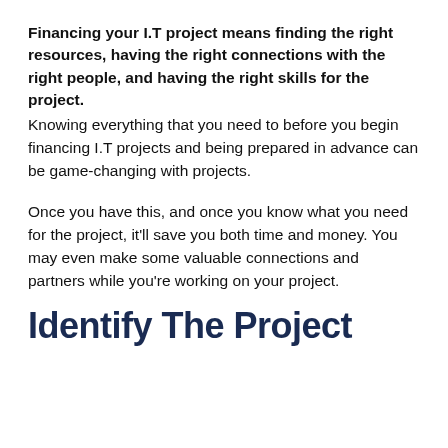Financing your I.T project means finding the right resources, having the right connections with the right people, and having the right skills for the project. Knowing everything that you need to before you begin financing I.T projects and being prepared in advance can be game-changing with projects.
Once you have this, and once you know what you need for the project, it'll save you both time and money. You may even make some valuable connections and partners while you're working on your project.
Identify The Project